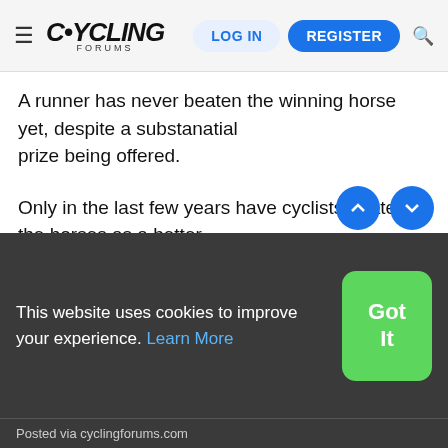≡ CYCLING FORUMS  LOG IN  REGISTER 🔍
A runner has never beaten the winning horse yet, despite a substanatial prize being offered.
Only in the last few years have cyclists beaten the horses as a better class of cyclist found this event.
The course is a tough cross country course with some serious hills.
This website uses cookies to improve your experience. Learn More
Posted via cyclingforums.com